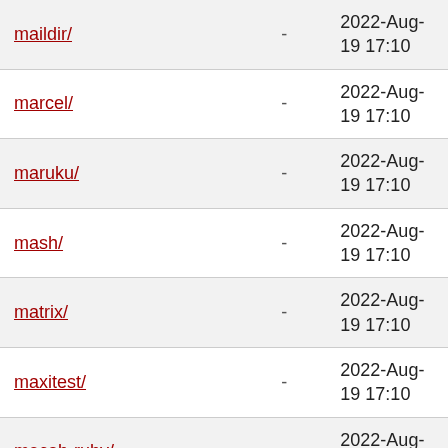| Name | Size | Last Modified |
| --- | --- | --- |
| maildir/ | - | 2022-Aug-19 17:10 |
| marcel/ | - | 2022-Aug-19 17:10 |
| maruku/ | - | 2022-Aug-19 17:10 |
| mash/ | - | 2022-Aug-19 17:10 |
| matrix/ | - | 2022-Aug-19 17:10 |
| maxitest/ | - | 2022-Aug-19 17:10 |
| mecab-ruby/ | - | 2022-Aug-19 17:10 |
| mechanize/ | - | 2022-Aug-19 17:10 |
| memo_wise/ | - | 2022-Aug-19 17:10 |
| memoist/ | - | 2022-Aug-19 17:10 |
| memoizable/ | - | 2022-Aug-19 17:10 |